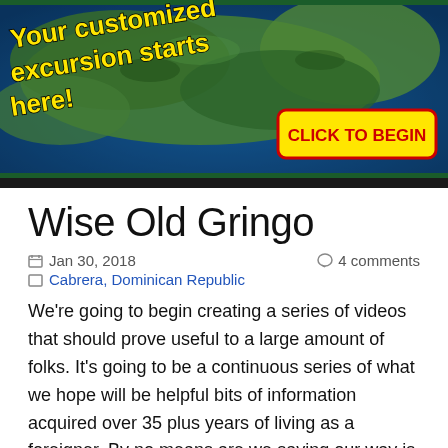[Figure (photo): Satellite map of a landmass (Caribbean/Dominican Republic region) with yellow bold text 'Your customized excursion starts here!' and a yellow button with red text 'CLICK TO BEGIN']
Wise Old Gringo
Jan 30, 2018    4 comments
Cabrera, Dominican Republic
We're going to begin creating a series of videos that should prove useful to a large amount of folks. It's going to be a continuous series of what we hope will be helpful bits of information acquired over 35 plus years of living as a foreigner. By no means are we saying our way is right or wrong, nor are we implying it as being good or bad. It